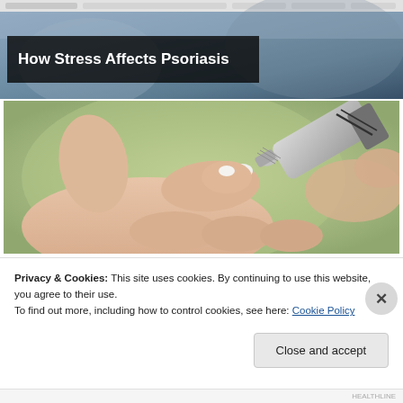[Figure (screenshot): Browser screenshot showing a webpage about how stress affects psoriasis, with a top banner image and a photo of cream being applied to a hand]
How Stress Affects Psoriasis
[Figure (photo): Close-up photo of a hand with a cream tube being squeezed onto finger, with green blurred background]
Privacy & Cookies: This site uses cookies. By continuing to use this website, you agree to their use.
To find out more, including how to control cookies, see here: Cookie Policy
Close and accept